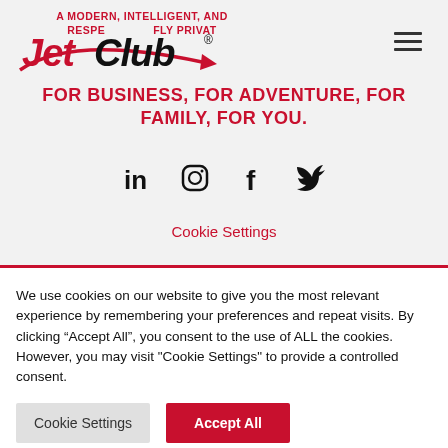[Figure (logo): JetClub logo with red script arrow and bold black text, overlaid on tagline text reading 'A MODERN, INTELLIGENT, AND RESPONSIBLE WAY TO FLY PRIVATE']
FOR BUSINESS, FOR ADVENTURE, FOR FAMILY, FOR YOU.
[Figure (infographic): Four social media icons in black: LinkedIn, Instagram, Facebook, Twitter]
Cookie Settings
We use cookies on our website to give you the most relevant experience by remembering your preferences and repeat visits. By clicking “Accept All”, you consent to the use of ALL the cookies. However, you may visit "Cookie Settings" to provide a controlled consent.
Cookie Settings | Accept All